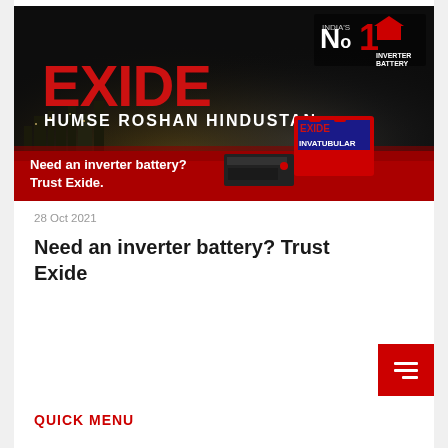[Figure (photo): Exide inverter battery advertisement banner showing night cityscape with EXIDE logo in red, tagline HUMSE ROSHAN HINDUSTAN, India No1 Inverter Battery badge, and product image of Exide Invatubular battery with text Need an inverter battery? Trust Exide.]
28 Oct 2021
Need an inverter battery? Trust Exide
QUICK MENU